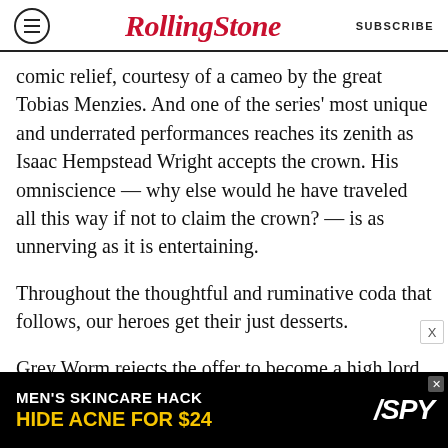Rolling Stone | SUBSCRIBE
comic relief, courtesy of a cameo by the great Tobias Menzies. And one of the series' most unique and underrated performances reaches its zenith as Isaac Hempstead Wright accepts the crown. His omniscience — why else would he have traveled all this way if not to claim the crown? — is as unnerving as it is entertaining.
Throughout the thoughtful and ruminative coda that follows, our heroes get their just desserts.
Grey Worm rejects the offer to become a high lord, sailing instead for his beloved Missandei's peaceful country of Naath. Brienne becomes Lord Commander of the Kingsguard, with Podrick
[Figure (other): Advertisement banner: MEN'S SKINCARE HACK / HIDE ACNE FOR $24 with SPY logo on black background]